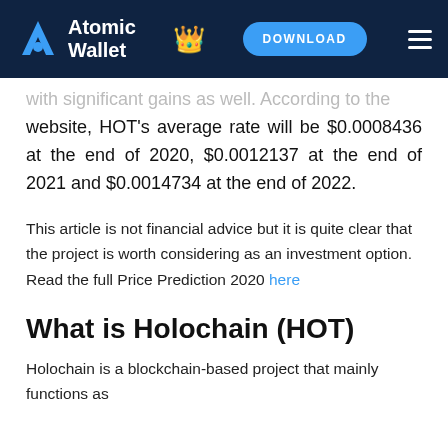Atomic Wallet | DOWNLOAD
with significant gains as well. According to the website, HOT's average rate will be $0.0008436 at the end of 2020, $0.0012137 at the end of 2021 and $0.0014734 at the end of 2022.
This article is not financial advice but it is quite clear that the project is worth considering as an investment option. Read the full Price Prediction 2020 here
What is Holochain (HOT)
Holochain is a blockchain-based project that mainly functions as